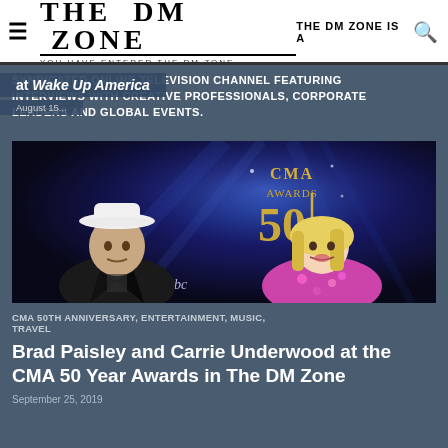THE DM ZONE — YOU HAVE ENTERED THE DM ZONE — THE DM ZONE IS A
SYNDICATED ONLINE TELEVISION CHANNEL FEATURING INTERVIEWS WITH CREATIVE PROFESSIONALS, CORPORATE LEADERS AND GLOBAL EVENTS.
at Wake Up America
August 15...
[Figure (photo): Brad Paisley wearing a black jacket and white cowboy hat, and Carrie Underwood in a pink floral top, sitting in front of a CMA Awards 50th anniversary backdrop with ABC logo]
CMA 50TH ANNIVERSARY, ENTERTAINMENT, MUSIC, TRAVEL
Brad Paisley and Carrie Underwood at the CMA 50 Year Awards in The DM Zone
September 25, 2019